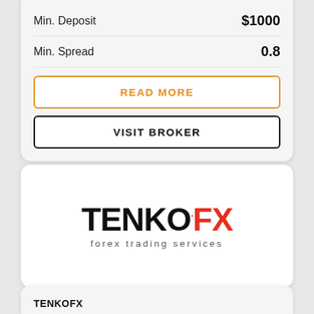Min. Deposit    $1000
Min. Spread    0.8
READ MORE
VISIT BROKER
[Figure (logo): TenkoFX forex trading services logo. 'TENKO' in black bold text, 'FX' in red bold text with a small red dot superscript between them, subtitle 'forex trading services' in spaced grey text below.]
TENKOFX